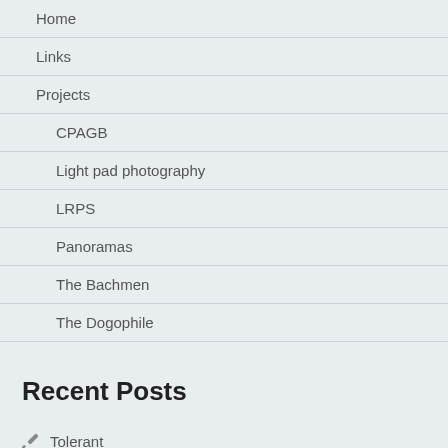Home
Links
Projects
CPAGB
Light pad photography
LRPS
Panoramas
The Bachmen
The Dogophile
Recent Posts
Tolerant
Friday hawker